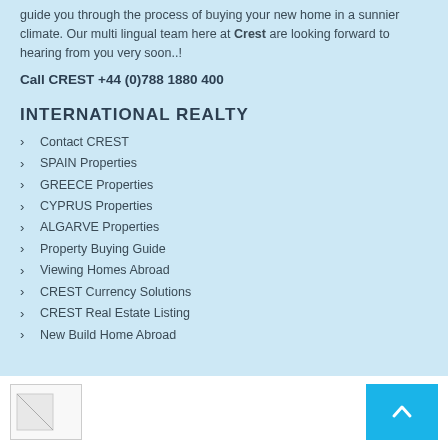guide you through the process of buying your new home in a sunnier climate. Our multi lingual team here at Crest are looking forward to hearing from you very soon..!
Call CREST +44 (0)788 1880 400
INTERNATIONAL REALTY
Contact CREST
SPAIN Properties
GREECE Properties
CYPRUS Properties
ALGARVE Properties
Property Buying Guide
Viewing Homes Abroad
CREST Currency Solutions
CREST Real Estate Listing
New Build Home Abroad
[Figure (logo): Footer logo image placeholder]
[Figure (other): Back to top button with upward chevron arrow]